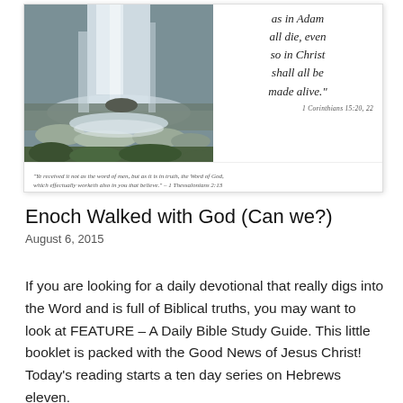[Figure (photo): A card/booklet showing a waterfall photo on the left and a scripture quote on the right: 'as in Adam all die, even so in Christ shall all be made alive.' 1 Corinthians 15:20, 22. Footer quote: 'Ye received it not as the word of men, but as it is in truth, the Word of God, which effectually worketh also in you that believe.' – 1 Thessalonians 2:13]
Enoch Walked with God (Can we?)
August 6, 2015
If you are looking for a daily devotional that really digs into the Word and is full of Biblical truths, you may want to look at FEATURE – A Daily Bible Study Guide. This little booklet is packed with the Good News of Jesus Christ! Today's reading starts a ten day series on Hebrews eleven.